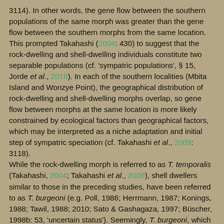3114). In other words, the gene flow between the southern populations of the same morph was greater than the gene flow between the southern morphs from the same location. This prompted Takahashi (2004: 430) to suggest that the rock-dwelling and shell-dwelling individuals constitute two separable populations (cf. 'sympatric populations', § 15, Jorde et al., 2018). In each of the southern localities (Mbita Island and Wonzye Point), the geographical distribution of rock-dwelling and shell-dwelling morphs overlap, so gene flow between morphs at the same location is more likely constrained by ecological factors than geographical factors, which may be interpreted as a niche adaptation and initial step of sympatric speciation (cf. Takahashi et al., 2009: 3118). While the rock-dwelling morph is referred to as T. temporalis (Takahashi, 2004; Takahashi et al., 2009), shell dwellers similar to those in the preceding studies, have been referred to as T. burgeoni (e.g. Poll, 1986; Herrmann, 1987; Konings, 1988; Tawil, 1988; 2010; Sato & Gashagaza, 1997; Büscher, 1998b: 53, 'uncertain status'). Seemingly, T. burgeoni, which was described based on a single specimen from Nyanza-Lac, represents an artificial category of disconnected and